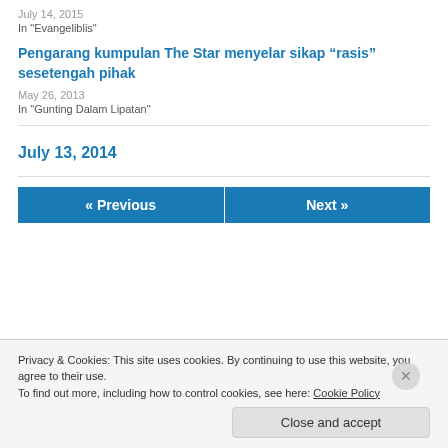July 14, 2015
In "Evangeliblis"
Pengarang kumpulan The Star menyelar sikap “rasis” sesetengah pihak
May 26, 2013
In "Gunting Dalam Lipatan"
July 13, 2014
« Previous
Next »
Privacy & Cookies: This site uses cookies. By continuing to use this website, you agree to their use.
To find out more, including how to control cookies, see here: Cookie Policy
Close and accept